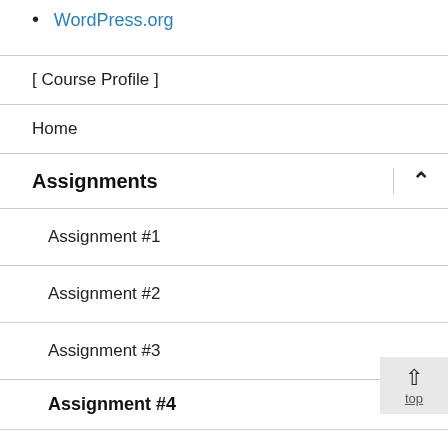WordPress.org
[ Course Profile ]
Home
Assignments
Assignment #1
Assignment #2
Assignment #3
Assignment #4
Course Resources